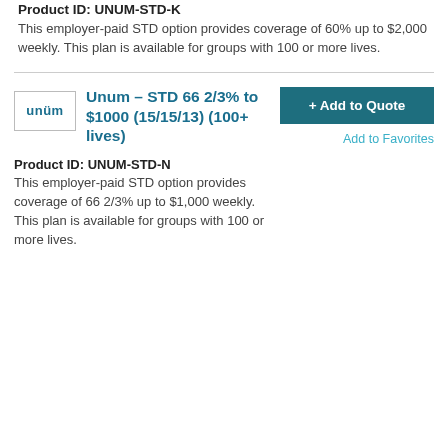Product ID: UNUM-STD-K
This employer-paid STD option provides coverage of 60% up to $2,000 weekly. This plan is available for groups with 100 or more lives.
Unum – STD 66 2/3% to $1000 (15/15/13) (100+ lives)
Product ID: UNUM-STD-N
This employer-paid STD option provides coverage of 66 2/3% up to $1,000 weekly. This plan is available for groups with 100 or more lives.